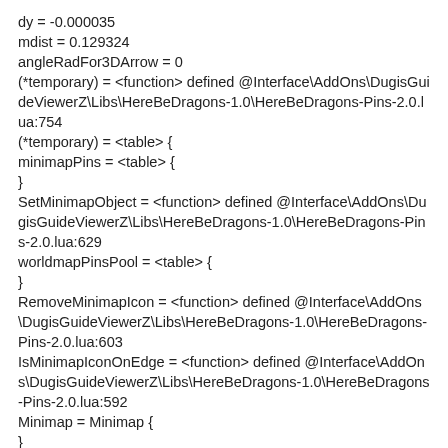dy = -0.000035
mdist = 0.129324
angleRadFor3DArrow = 0
(*temporary) = <function> defined @Interface\AddOns\DugisGuideViewerZ\Libs\HereBeDragons-1.0\HereBeDragons-Pins-2.0.lua:754
(*temporary) = <table> {
minimapPins = <table> {
}
SetMinimapObject = <function> defined @Interface\AddOns\DugisGuideViewerZ\Libs\HereBeDragons-1.0\HereBeDragons-Pins-2.0.lua:629
worldmapPinsPool = <table> {
}
RemoveMinimapIcon = <function> defined @Interface\AddOns\DugisGuideViewerZ\Libs\HereBeDragons-1.0\HereBeDragons-Pins-2.0.lua:603
IsMinimapIconOnEdge = <function> defined @Interface\AddOns\DugisGuideViewerZ\Libs\HereBeDragons-1.0\HereBeDragons-Pins-2.0.lua:592
Minimap = Minimap {
}
RemoveAllWorldMapIcons = <function> defined @Interface\AddOns\DugisGuideViewerZ\Libs\HereBeDragons-1.0\HereBeDragons-Pins-2.0.lua:741